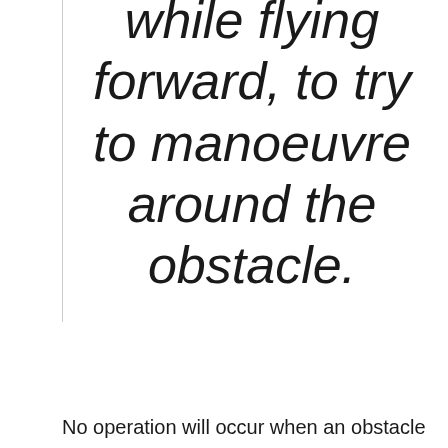while flying forward, to try to manoeuvre around the obstacle.
No operation will occur when an obstacle